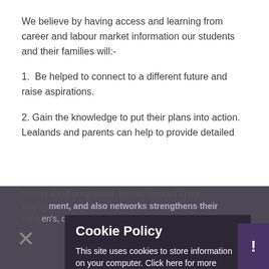We believe by having access and learning from career and labour market information our students and their families will:-
1.  Be helped to connect to a different future and raise aspirations.
2. Gain the knowledge to put their plans into action. Lealands and parents can help to provide detailed information about progression routes, relevant to our employment, and also networks strengthens their children's, opportunities and transitions.
[Figure (screenshot): Cookie Policy popup overlay with dark background. Title: 'Cookie Policy'. Body text: 'This site uses cookies to store information on your computer. Click here for more information'. Two buttons: 'Allow Cookies' and 'Deny Cookies'. An X close button on the left and an exclamation button on the right.]